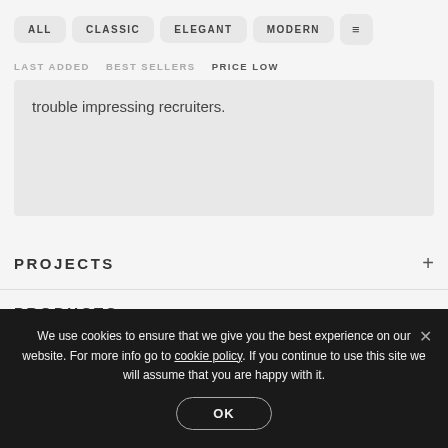ALL   CLASSIC   ELEGANT   MODERN
LAST ADDED   BEST SELLERS   PRICE LOW
trouble impressing recruiters.
PROJECTS
PRODUCTS
We use cookies to ensure that we give you the best experience on our website. For more info go to cookie policy. If you continue to use this site we will assume that you are happy with it.
OK